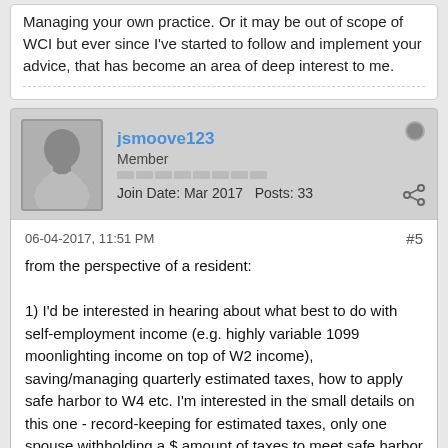Managing your own practice. Or it may be out of scope of WCI but ever since I've started to follow and implement your advice, that has become an area of deep interest to me.
jsmoove123
Member
Join Date: Mar 2017  Posts: 33
06-04-2017, 11:51 PM
#5
from the perspective of a resident:

1) I'd be interested in hearing about what best to do with self-employment income (e.g. highly variable 1099 moonlighting income on top of W2 income), saving/managing quarterly estimated taxes, how to apply safe harbor to W4 etc. I'm interested in the small details on this one - record-keeping for estimated taxes, only one spouse withholding a $ amount of taxes to meet safe harbor for a MFJ couple?
My salary/workplace will change more than someone with a long-term job, it can get hard to calculate. Should I just do safe harbor via W4 even if there's a chance my income may decrease this year?